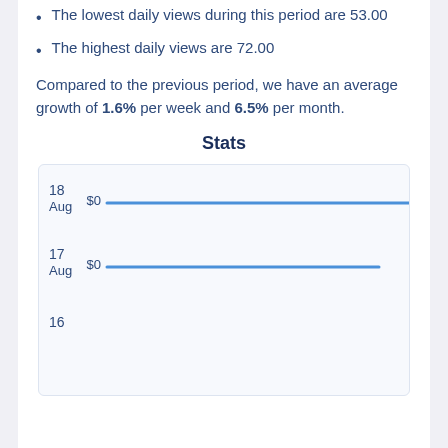The lowest daily views during this period are 53.00
The highest daily views are 72.00
Compared to the previous period, we have an average growth of 1.6% per week and 6.5% per month.
Stats
[Figure (bar-chart): Stats]